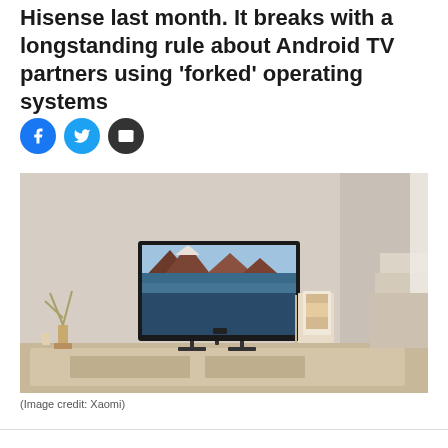Hisense last month. It breaks with a longstanding rule about Android TV partners using 'forked' operating systems
[Figure (photo): A Xiaomi smart TV displaying a mountain lake landscape, sitting on a wooden media console in a bright living room setting. Art frames lean against the wall to the right.]
(Image credit: Xaomi)